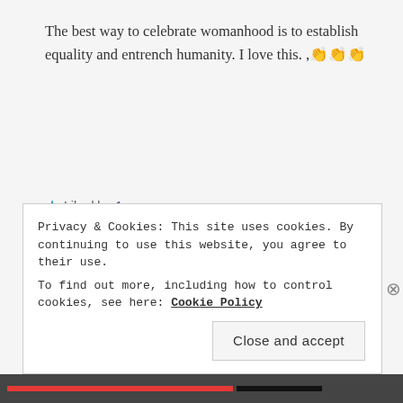The best way to celebrate womanhood is to establish equality and entrench humanity. I love this. ,👏👏👏
★ Liked by 1 person
Reply
[Figure (photo): Profile photo of rosidabegum - black and white portrait of a woman smiling]
rosidabegum
march 10, 2021 at 4:51 am
Privacy & Cookies: This site uses cookies. By continuing to use this website, you agree to their use.
To find out more, including how to control cookies, see here: Cookie Policy
Close and accept